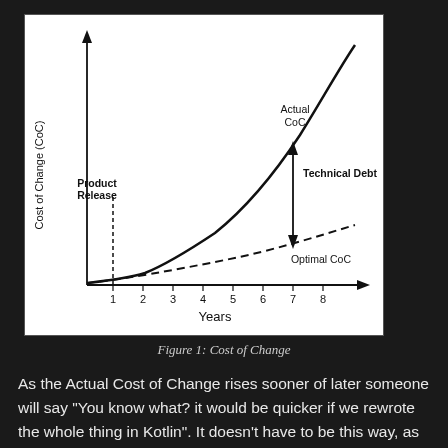[Figure (continuous-plot): Line chart showing Cost of Change (CoC) on y-axis vs Years (1-8) on x-axis. Two curves: 'Actual CoC' — a solid exponential curve rising steeply; 'Optimal CoC' — a dashed line rising gradually. A vertical dashed line at year 1 marks 'Product Release'. A double-headed arrow between the two curves at year 7 is labeled 'Technical Debt'.]
Figure 1: Cost of Change
As the Actual Cost of Change rises sooner of later someone will say "You know what? it would be quicker if we rewrote the whole thing in Kotlin". It doesn't have to be this way, as we can